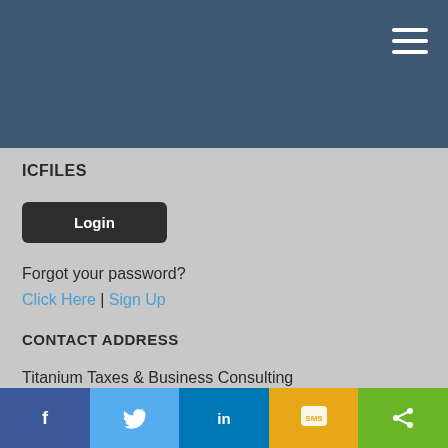ICFILES
[Figure (other): Login button - dark rounded rectangle with white text 'Login']
Forgot your password?
Click Here | Sign Up
CONTACT ADDRESS
Titanium Taxes & Business Consulting
28362 Vincent Moraga Dr. Ste. A
Temecula, CA. 92590
Phone: +1 951 595 7374
Fax: +1 951 858 8080
Facebook | Twitter | LinkedIn | SMS | Share